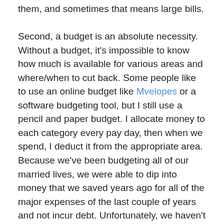them, and sometimes that means large bills.

Second, a budget is an absolute necessity. Without a budget, it's impossible to know how much is available for various areas and where/when to cut back. Some people like to use an online budget like Mvelopes or a software budgeting tool, but I still use a pencil and paper budget. I allocate money to each category every pay day, then when we spend, I deduct it from the appropriate area. Because we've been budgeting all of our married lives, we were able to dip into money that we saved years ago for all of the major expenses of the last couple of years and not incur debt. Unfortunately, we haven't been able to save for the last couple of years, and the reserve is getting dangerously low, but we have hope that things will turn around as the economy improves.